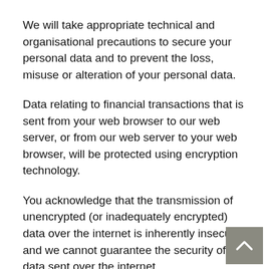We will take appropriate technical and organisational precautions to secure your personal data and to prevent the loss, misuse or alteration of your personal data.
Data relating to financial transactions that is sent from your web browser to our web server, or from our web server to your web browser, will be protected using encryption technology.
You acknowledge that the transmission of unencrypted (or inadequately encrypted) data over the internet is inherently insecure, and we cannot guarantee the security of data sent over the internet.
You should ensure that any password you may use our website is not susceptible to being guessed, whether by a person or a computer program. You s...